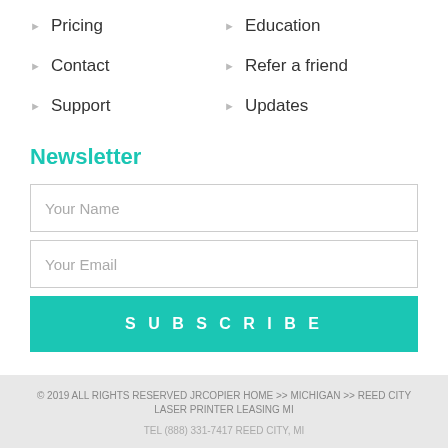▶ Pricing
▶ Education
▶ Contact
▶ Refer a friend
▶ Support
▶ Updates
Newsletter
Your Name
Your Email
SUBSCRIBE
© 2019 ALL RIGHTS RESERVED JRCOPIER HOME >> MICHIGAN >> REED CITY LASER PRINTER LEASING MI

TEL (888) 331-7417 REED CITY, MI